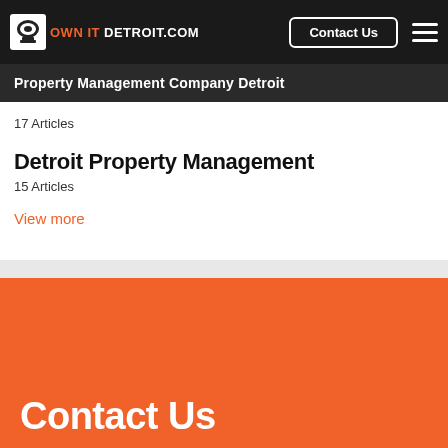OWN IT DETROIT.COM — Contact Us — Navigation menu
Property Management Company Detroit
17 Articles
Detroit Property Management
15 Articles
View more
Contact Us